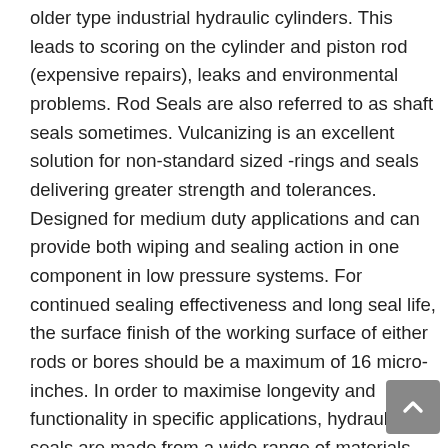older type industrial hydraulic cylinders. This leads to scoring on the cylinder and piston rod (expensive repairs), leaks and environmental problems. Rod Seals are also referred to as shaft seals sometimes. Vulcanizing is an excellent solution for non-standard sized -rings and seals delivering greater strength and tolerances. Designed for medium duty applications and can provide both wiping and sealing action in one component in low pressure systems. For continued sealing effectiveness and long seal life, the surface finish of the working surface of either rods or bores should be a maximum of 16 micro-inches. In order to maximise longevity and functionality in specific applications, hydraulic seals are made from a wide range of materials, each with their own unique properties. Hydraulic seals (also referred to as hydraulic cylinder seals or shaft seals) are devices designed to keep fluids from escaping from cylinders or pumps while simultaneously preventing foreign contaminants from